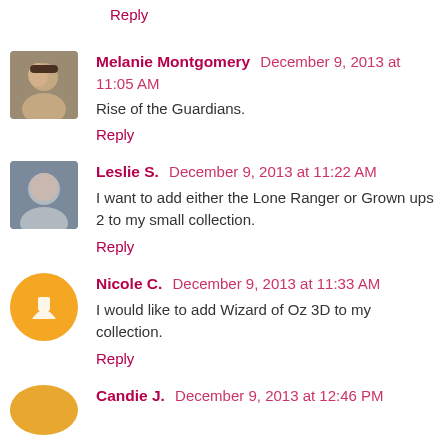Reply
Melanie Montgomery  December 9, 2013 at 11:05 AM
Rise of the Guardians.
Reply
Leslie S.  December 9, 2013 at 11:22 AM
I want to add either the Lone Ranger or Grown ups 2 to my small collection.
Reply
Nicole C.  December 9, 2013 at 11:33 AM
I would like to add Wizard of Oz 3D to my collection.
Reply
Candie J.  December 9, 2013 at 12:46 PM